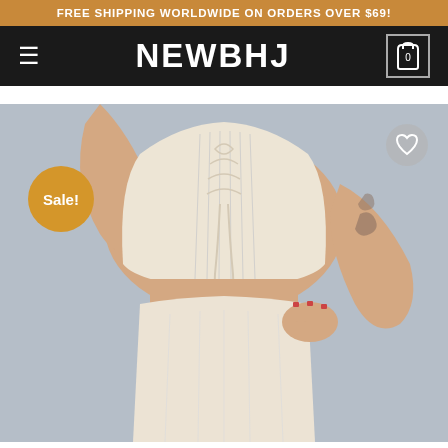FREE SHIPPING WORLDWIDE ON ORDERS OVER $69!
NEWBHJ
[Figure (photo): A woman wearing a cream/beige lace-up crop top with ruching and matching mini skirt, with a 'Sale!' badge overlay in the bottom-left and a heart/wishlist icon in the top-right corner.]